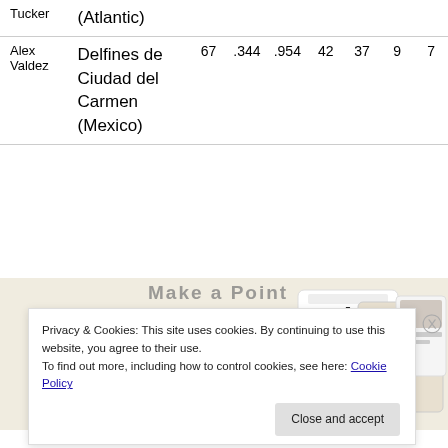|  |  |  |  |  |  |  |  |  |
| --- | --- | --- | --- | --- | --- | --- | --- | --- |
| Tucker | (Atlantic) |  |  |  |  |  |  |  |
| Alex
Valdez | Delfines de Ciudad del Carmen (Mexico) | 67 | .344 | .954 | 42 | 37 | 9 | 7 |
[Figure (screenshot): Advertisement banner with 'Explore options' green button and website mockup screenshots on a beige background]
Privacy & Cookies: This site uses cookies. By continuing to use this website, you agree to their use.
To find out more, including how to control cookies, see here: Cookie Policy